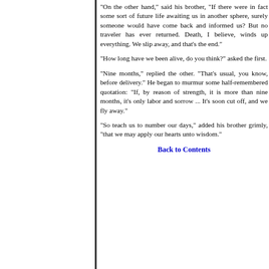"On the other hand," said his brother, "If there were in fact some sort of future life awaiting us in another sphere, surely someone would have come back and informed us? But no traveler has ever returned. Death, I believe, winds up everything. We slip away, and that's the end."
"How long have we been alive, do you think?" asked the first.
"Nine months," replied the other. "That's usual, you know, before delivery." He began to murmur some half-remembered quotation: "If, by reason of strength, it is more than nine months, it's only labor and sorrow ... It's soon cut off, and we fly away."
"So teach us to number our days," added his brother grimly, "that we may apply our hearts unto wisdom."
Back to Contents